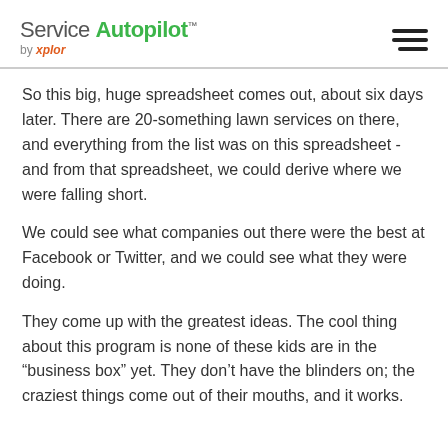Service Autopilot by xplor
So this big, huge spreadsheet comes out, about six days later. There are 20-something lawn services on there, and everything from the list was on this spreadsheet - and from that spreadsheet, we could derive where we were falling short.
We could see what companies out there were the best at Facebook or Twitter, and we could see what they were doing.
They come up with the greatest ideas. The cool thing about this program is none of these kids are in the “business box” yet. They don’t have the blinders on; the craziest things come out of their mouths, and it works.